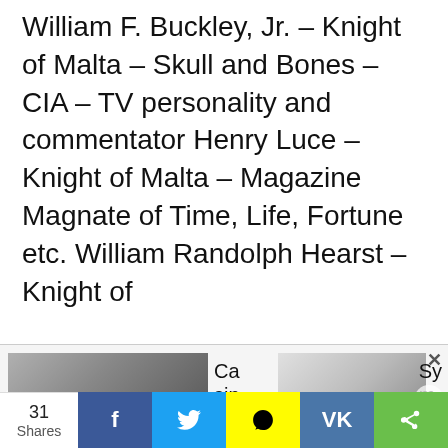William F. Buckley, Jr. – Knight of Malta – Skull and Bones – CIA – TV personality and commentator Henry Luce – Knight of Malta – Magazine Magnate of Time, Life, Fortune etc. William Randolph Hearst – Knight of
[Figure (screenshot): Ad widget bar with two thumbnail images (casino scene, exercise/therapy scene), close button (X), left and right navigation arrows, and text labels 'Casinos' and 'Sym']
[Figure (screenshot): Social share bar showing 31 Shares count, and share buttons for Facebook (f), Twitter (bird), Snapchat (ghost), VKontakte (VK), and a generic share icon]